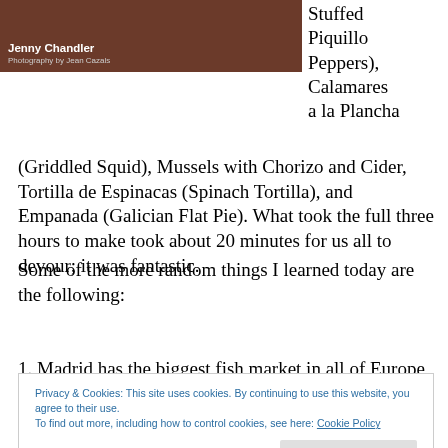[Figure (photo): Book cover or author photo with dark reddish-brown background. Text reads 'Jenny Chandler' in bold white and 'Photography by Jean Cazals' in smaller grey text.]
Stuffed Piquillo Peppers), Calamares a la Plancha (Griddled Squid), Mussels with Chorizo and Cider, Tortilla de Espinacas (Spinach Tortilla), and Empanada (Galician Flat Pie). What took the full three hours to make took about 20 minutes for us all to devour; it was fantastic.
Some of the more random things I learned today are the following:
1. Madrid has the biggest fish market in all of Europe yet is
Privacy & Cookies: This site uses cookies. By continuing to use this website, you agree to their use.
To find out more, including how to control cookies, see here: Cookie Policy
Close and accept